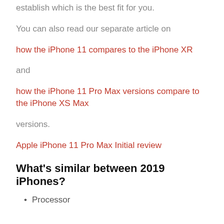establish which is the best fit for you.
You can also read our separate article on
how the iPhone 11 compares to the iPhone XR
and
how the iPhone 11 Pro Max versions compare to the iPhone XS Max
versions.
Apple iPhone 11 Pro Max Initial review
What's similar between 2019 iPhones?
Processor